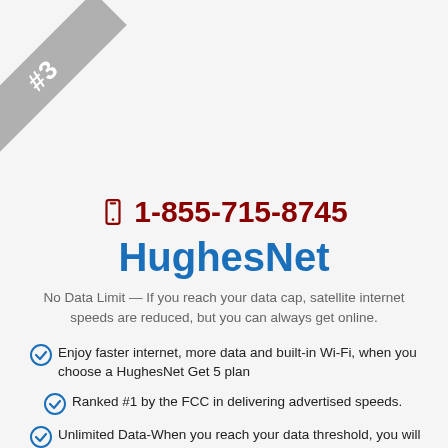[Figure (illustration): Corner ribbon badge with '#3' text in white on grey diagonal banner]
📱 1-855-715-8745
HughesNet
No Data Limit — If you reach your data cap, satellite internet speeds are reduced, but you can always get online.
Enjoy faster internet, more data and built-in Wi-Fi, when you choose a HughesNet Get 5 plan
Ranked #1 by the FCC in delivering advertised speeds.
Unlimited Data-When you reach your data threshold, you will experience a reduction in speed, but you will always stay online